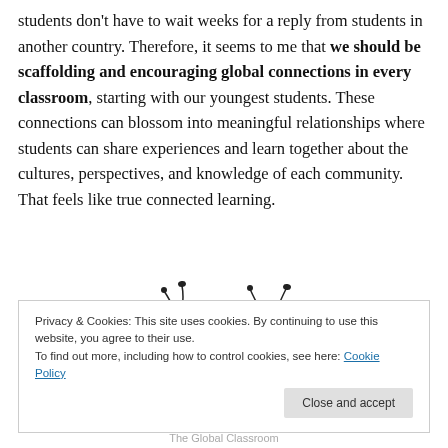students don't have to wait weeks for a reply from students in another country. Therefore, it seems to me that we should be scaffolding and encouraging global connections in every classroom, starting with our youngest students. These connections can blossom into meaningful relationships where students can share experiences and learn together about the cultures, perspectives, and knowledge of each community. That feels like true connected learning.
[Figure (illustration): Two colorful cartoon bee or bug illustrations with curly antennae, one wearing a purple hat, the other with yellow and pink wings, on a white background.]
Privacy & Cookies: This site uses cookies. By continuing to use this website, you agree to their use.
To find out more, including how to control cookies, see here: Cookie Policy
The Global Classroom